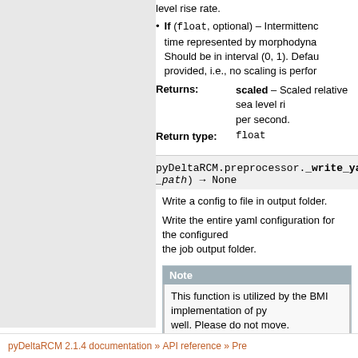level rise rate.
If (float, optional) – Intermittence time represented by morphodynamic... Should be in interval (0, 1). Default provided, i.e., no scaling is performed.
Returns: scaled – Scaled relative sea level rise per second.
Return type: float
pyDeltaRCM.preprocessor._write_yaml_conf(_path) → None
Write a config to file in output folder.
Write the entire yaml configuration for the configured job to the job output folder.
Note
This function is utilized by the BMI implementation of pyDeltaRCM as well. Please do not move.
pyDeltaRCM 2.1.4 documentation » API reference » Pre...